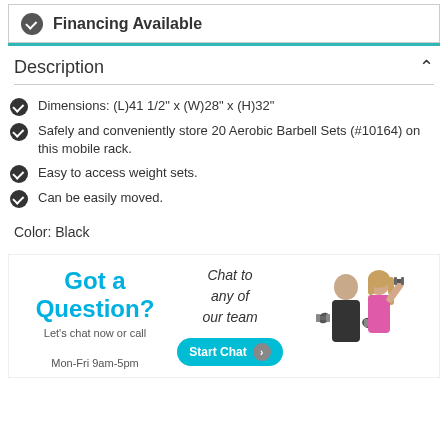Financing Available
Description
Dimensions: (L)41 1/2" x (W)28" x (H)32"
Safely and conveniently store 20 Aerobic Barbell Sets (#10164) on this mobile rack.
Easy to access weight sets.
Can be easily moved.
Color: Black
[Figure (infographic): Got a Question? Let's chat now or call Mon-Fri 9am-5pm. Chat to any of our team. Start Chat button. Photo of man and woman holding dumbbells.]